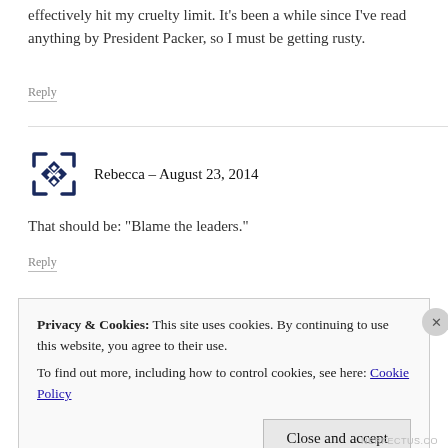effectively hit my cruelty limit. It’s been a while since I’ve read anything by President Packer, so I must be getting rusty.
Reply
Rebecca – August 23, 2014
That should be: “Blame the leaders.”
Reply
Privacy & Cookies: This site uses cookies. By continuing to use this website, you agree to their use.
To find out more, including how to control cookies, see here: Cookie Policy
Close and accept